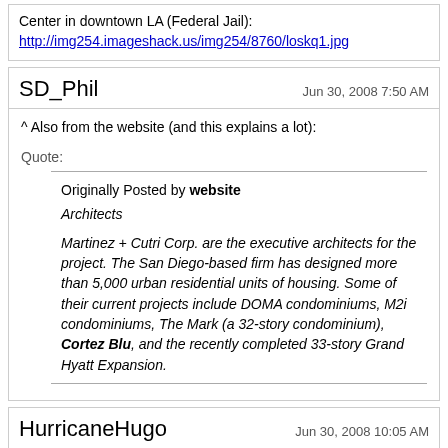Center in downtown LA (Federal Jail):
http://img254.imageshack.us/img254/8760/loskq1.jpg
SD_Phil
Jun 30, 2008 7:50 AM
^ Also from the website (and this explains a lot):
Quote:
Originally Posted by website
Architects

Martinez + Cutri Corp. are the executive architects for the project. The San Diego-based firm has designed more than 5,000 urban residential units of housing. Some of their current projects include DOMA condominiums, M2i condominiums, The Mark (a 32-story condominium), Cortez Blu, and the recently completed 33-story Grand Hyatt Expansion.
HurricaneHugo
Jun 30, 2008 10:05 AM
Well...M2i, the Mark, and the Hyatt Expansion were all good IMO